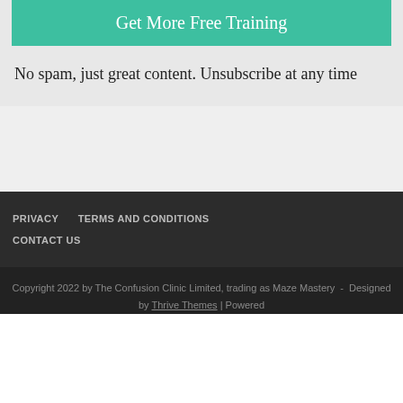Get More Free Training
No spam, just great content. Unsubscribe at any time
PRIVACY   TERMS AND CONDITIONS   CONTACT US
Copyright 2022 by The Confusion Clinic Limited, trading as Maze Mastery  -  Designed by Thrive Themes | Powered